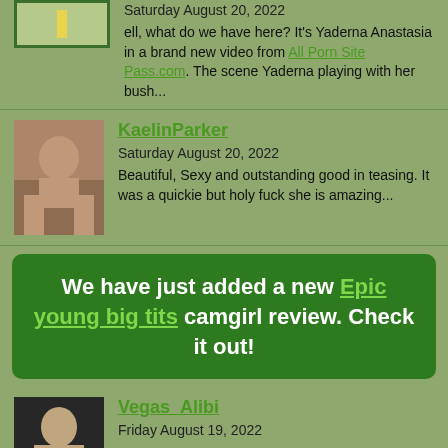Saturday August 20, 2022
ell, what do we have here? It's Yaderna Anastasia in a brand new video from All Porn Site Pass.com. The scene Yaderna playing with her bush...
[Figure (photo): Thumbnail image placeholder with green border and yellow bar]
KaelinParker
Saturday August 20, 2022
Beautiful, Sexy and outstanding good in teasing. It was a quickie but holy fuck she is amazing...
[Figure (photo): Photo of a woman kneeling]
We have just added a new Epic young big tits camgirl review. Check it out!
Vegas_Alibi
Friday August 19, 2022
[Figure (photo): Photo of a blonde woman]